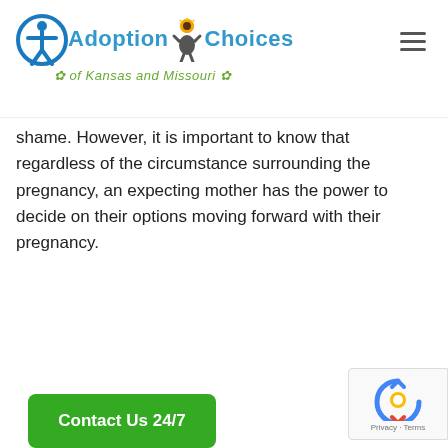Adoption Choices of Kansas and Missouri
shame. However, it is important to know that regardless of the circumstance surrounding the pregnancy, an expecting mother has the power to decide on their options moving forward with their pregnancy.
[Figure (other): Green rounded rectangle button labeled 'Contact Us 24/7' in white bold text]
[Figure (other): reCAPTCHA badge with spinning arrows icon and 'Privacy - Terms' text]